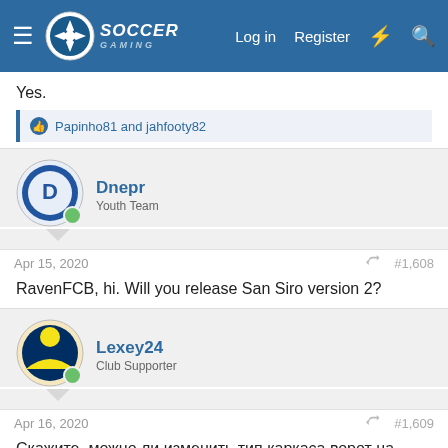Soccer Gaming — Log in  Register
Yes.
👍 Papinho81 and jahfooty82
Dnepr
Youth Team
Apr 15, 2020  #1,608
RavenFCB, hi. Will you release San Siro version 2?
Lexey24
Club Supporter
Apr 16, 2020  #1,609
Скажите, можно ли изменить тип каркаса ворот на стадионе?